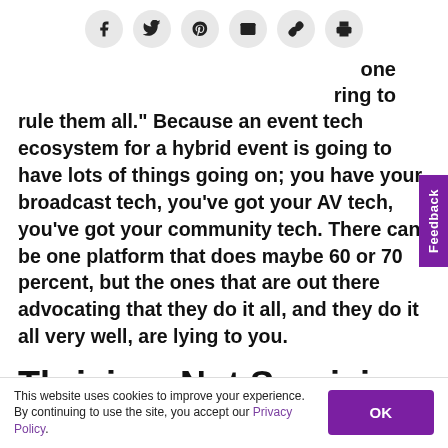[Figure (other): Social share bar with icons for Facebook, Twitter, Pinterest, Email, Link, and Print]
one ring to rule them all.” Because an event tech ecosystem for a hybrid event is going to have lots of things going on; you have your broadcast tech, you’ve got your AV tech, you’ve got your community tech. There can be one platform that does maybe 60 or 70 percent, but the ones that are out there advocating that they do it all, and they do it all very well, are lying to you.
Thriving, Not Surviving
This website uses cookies to improve your experience. By continuing to use the site, you accept our Privacy Policy.